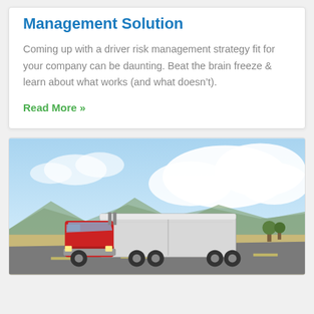Management Solution
Coming up with a driver risk management strategy fit for your company can be daunting. Beat the brain freeze & learn about what works (and what doesn't).
Read More »
[Figure (photo): A red semi-truck with a white trailer driving on a highway under a partly cloudy blue sky, with mountains visible in the background.]